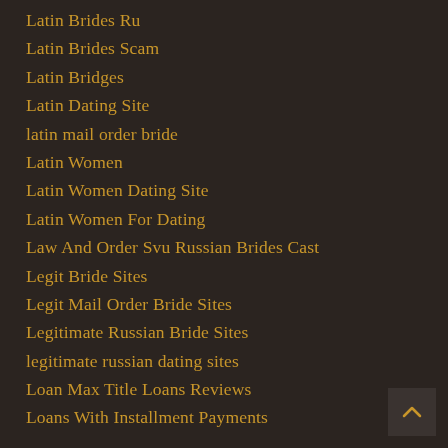Latin Brides Ru
Latin Brides Scam
Latin Bridges
Latin Dating Site
latin mail order bride
Latin Women
Latin Women Dating Site
Latin Women For Dating
Law And Order Svu Russian Brides Cast
Legit Bride Sites
Legit Mail Order Bride Sites
Legitimate Russian Bride Sites
legitimate russian dating sites
Loan Max Title Loans Reviews
Loans With Installment Payments